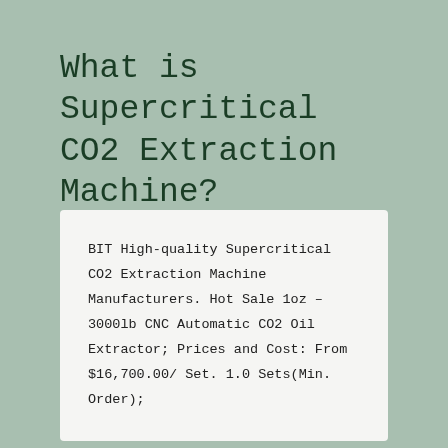What is Supercritical CO2 Extraction Machine?
BIT High-quality Supercritical CO2 Extraction Machine Manufacturers. Hot Sale 1oz – 3000lb CNC Automatic CO2 Oil Extractor; Prices and Cost: From $16,700.00/ Set. 1.0 Sets(Min. Order);